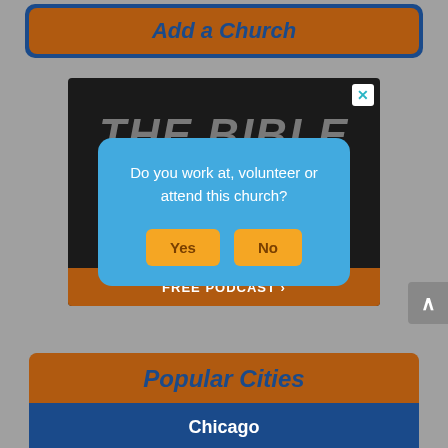Add a Church
[Figure (screenshot): Advertisement showing 'THE BIBLE' text on dark background with 'FREE PODCAST >' button at bottom, with a close X button in top right corner]
Do you work at, volunteer or attend this church?
Yes
No
Popular Cities
Chicago